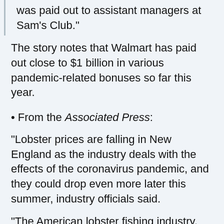was paid out to assistant managers at Sam's Club."
The story notes that Walmart has paid out close to $1 billion in various pandemic-related bonuses so far this year.
From the Associated Press:
"Lobster prices are falling in New England as the industry deals with the effects of the coronavirus pandemic, and they could drop even more later this summer, industry officials said.
"The American lobster fishing industry, based mostly in Maine, has had to cope with a supply chain that has been disrupted by the pandemic. Wholesale prices were lower than previous years this spring, and consumers started to see lower prices at markets earlier in June.